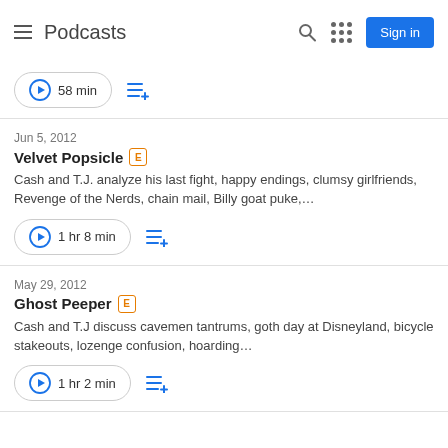Podcasts
58 min
Jun 5, 2012
Velvet Popsicle [E]
Cash and T.J. analyze his last fight, happy endings, clumsy girlfriends, Revenge of the Nerds, chain mail, Billy goat puke,...
1 hr 8 min
May 29, 2012
Ghost Peeper [E]
Cash and T.J discuss cavemen tantrums, goth day at Disneyland, bicycle stakeouts, lozenge confusion, hoarding...
1 hr 2 min